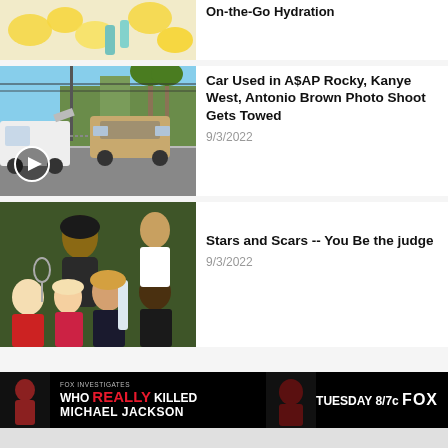[Figure (photo): Lemons and teal/green cosmetic tubes on marble surface - On-the-Go Hydration article thumbnail (partially cropped at top)]
On-the-Go Hydration
[Figure (photo): Street scene with tow truck hauling away a vintage SUV/wagon vehicle, palm trees and power lines in background. Play button overlay.]
Car Used in A$AP Rocky, Kanye West, Antonio Brown Photo Shoot Gets Towed
9/3/2022
[Figure (photo): Collage of celebrities including Serena Williams, Trump, Britney Spears, Madonna, Chris Rock and others at various events]
Stars and Scars -- You Be the judge
9/3/2022
[Figure (other): Advertisement banner: Fox investigates - WHO REALLY KILLED MICHAEL JACKSON - TUESDAY 8/7c FOX]